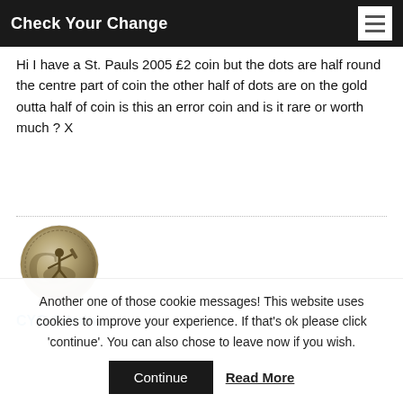Check Your Change
Hi I have a St. Pauls 2005 £2 coin but the dots are half round the centre part of coin the other half of dots are on the gold outta half of coin is this an error coin and is it rare or worth much ? X
[Figure (photo): A circular coin showing a cricket-themed design, metallic silver/bronze colour, depicting a cricket player.]
CYC-Admin
Another one of those cookie messages! This website uses cookies to improve your experience. If that's ok please click 'continue'. You can also chose to leave now if you wish.